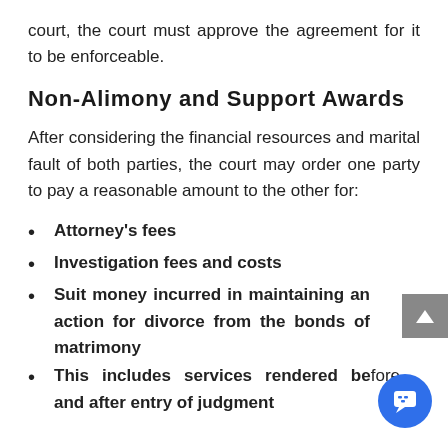court, the court must approve the agreement for it to be enforceable.
Non-Alimony and Support Awards
After considering the financial resources and marital fault of both parties, the court may order one party to pay a reasonable amount to the other for:
Attorney’s fees
Investigation fees and costs
Suit money incurred in maintaining an action for divorce from the bonds of matrimony
This includes services rendered before and after entry of judgment